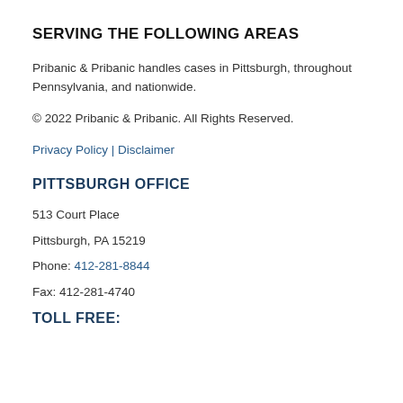SERVING THE FOLLOWING AREAS
Pribanic & Pribanic handles cases in Pittsburgh, throughout Pennsylvania, and nationwide.
© 2022 Pribanic & Pribanic. All Rights Reserved.
Privacy Policy | Disclaimer
PITTSBURGH OFFICE
513 Court Place
Pittsburgh, PA 15219
Phone: 412-281-8844
Fax: 412-281-4740
TOLL FREE: